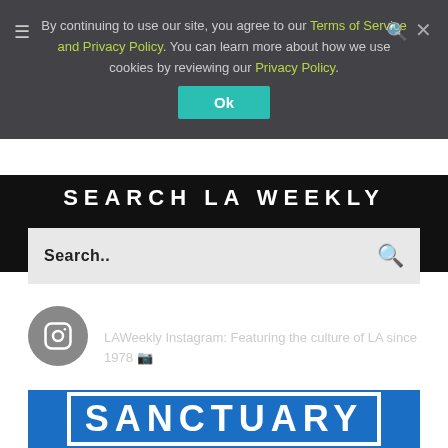By continuing to use our site, you agree to our Terms of Service and Privacy Policy. You can learn more about how we use cookies by reviewing our Privacy Policy.
Ok
SEARCH LA WEEKLY
Search..
laweekly
LAWeekly Instagram: Featuring the culture of LA since 1978
[Figure (screenshot): Blue banner with white text reading SANCTUARY in large bold letters with a white border frame]